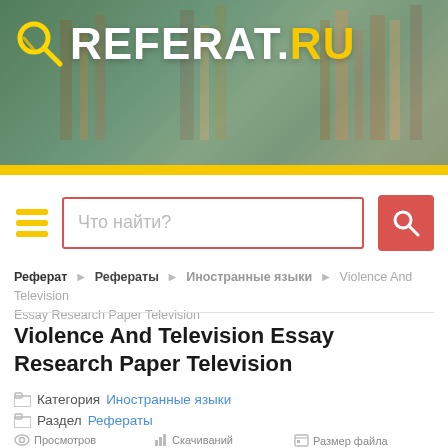[Figure (screenshot): Referat.ru website header banner with library bookshelf background image, yellow accent bar at bottom, and REFERAT.RU logo with magnifying glass icon]
[Figure (screenshot): Search bar area with yellow hamburger menu icon, red-bordered search input with placeholder 'Что найти?', and red search button with magnifying glass icon]
Реферат ▸ Рефераты ▸ Иностранные языки ▸ Violence And Television Essay Research Paper Television
Violence And Television Essay Research Paper Television
Категория Иностранные языки
Раздел Рефераты
Просмотров 180   Скачиваний 5   Размер файла 16 Кб